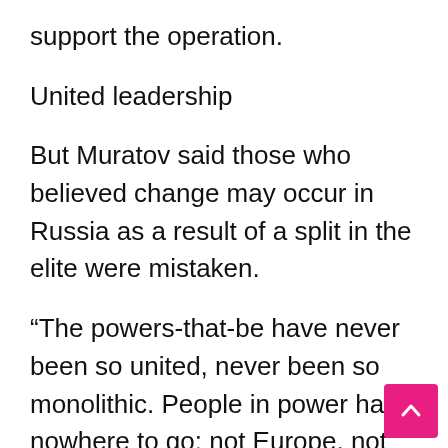support the operation.
United leadership
But Muratov said those who believed change may occur in Russia as a result of a split in the elite were mistaken.
“The powers-that-be have never been so united, never been so monolithic. People in power have nowhere to go: not Europe, not America, they are not allowed anywhere else. They are here. They are here like the crew of a submarine with no escape. And of course, they are united around the